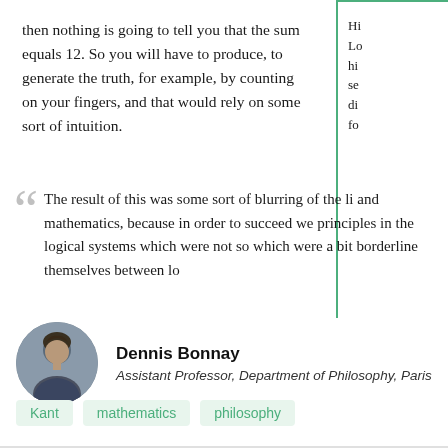then nothing is going to tell you that the sum equals 12. So you will have to produce, to generate the truth, for example, by counting on your fingers, and that would rely on some sort of intuition.
Hi Lo hi se di fo
The result of this was some sort of blurring of the li and mathematics, because in order to succeed we principles in the logical systems which were not so which were a bit borderline themselves between lo
Dennis Bonnay
Assistant Professor, Department of Philosophy, Paris
Kant   mathematics   philosophy